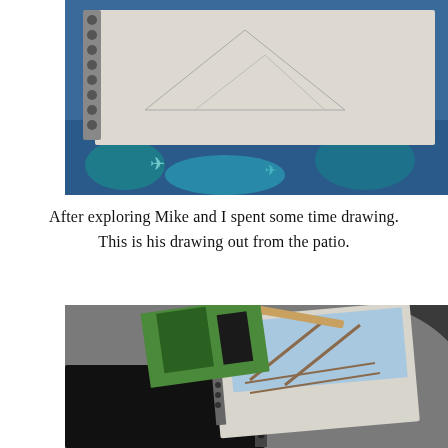[Figure (photo): A spiral-bound sketchbook open to a pencil drawing, lying on a blue decorative surface. The drawing appears to show pyramids or triangular shapes in pencil.]
After exploring Mike and I spent some time drawing. This is his drawing out from the patio.
[Figure (photo): A spiral-bound sketchbook with a colored drawing of a patio/deck structure with blue sky, lying on a grey surface. A pencil rests on top. Another colorful sketchbook page is visible underneath.]